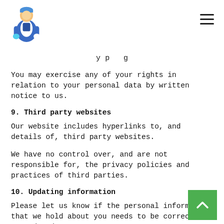You may exercise any of your rights in relation to your personal data by written notice to us.
9. Third party websites
Our website includes hyperlinks to, and details of, third party websites.
We have no control over, and are not responsible for, the privacy policies and practices of third parties.
10. Updating information
Please let us know if the personal information that we hold about you needs to be corrected or updated.
11. About cookies and local storage